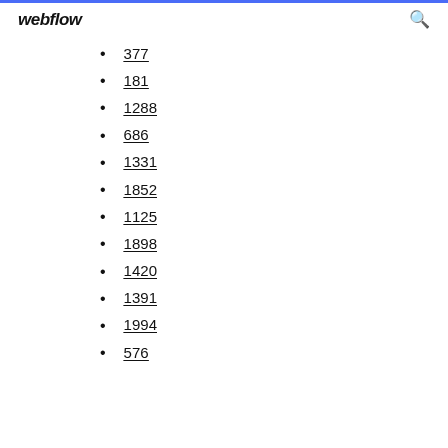webflow
377
181
1288
686
1331
1852
1125
1898
1420
1391
1994
576